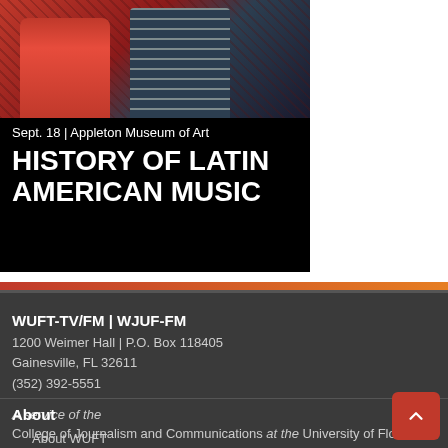[Figure (photo): Event promotional image showing two musicians performing, one in red shirt and one in plaid, with black overlay containing event details for History of Latin American Music at Appleton Museum of Art]
HISTORY OF LATIN AMERICAN MUSIC
Sept. 18 | Appleton Museum of Art
WUFT-TV/FM | WJUF-FM
1200 Weimer Hall | P.O. Box 118405
Gainesville, FL 32611
(352) 392-5551
A service of the College of Journalism and Communications at the University of Florida
About
About WUFT
Inclusion, Diversity, Equity and Access Statement